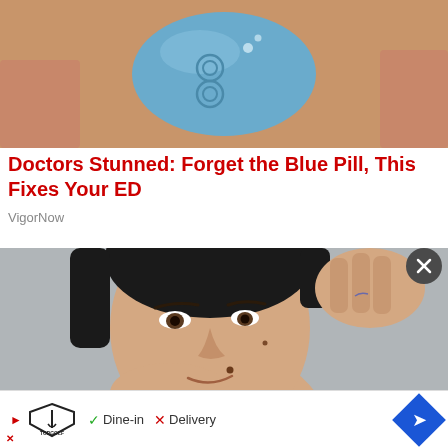[Figure (photo): Close-up photo of fingers holding a small blue pill]
Doctors Stunned: Forget the Blue Pill, This Fixes Your ED
VigorNow
[Figure (photo): Close-up photo of a young woman with dark hair resting her chin on her hand, looking slightly to the side]
[Figure (screenshot): Advertisement banner for Topgolf showing play button, Topgolf logo, checkmark for Dine-in, X for Delivery, and a blue navigation arrow icon]